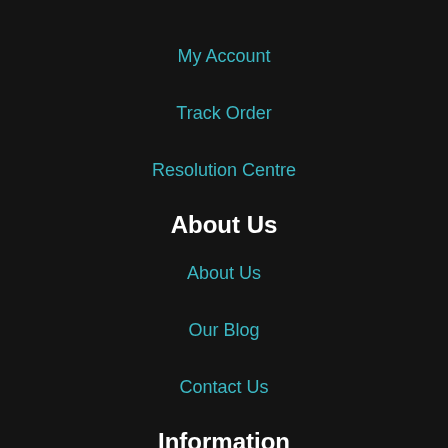My Account
Track Order
Resolution Centre
About Us
About Us
Our Blog
Contact Us
Information
Terms of Use
Privacy Policy
Returns Policy